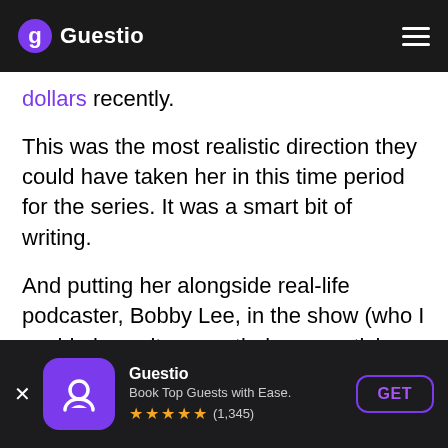Guestio
dollars recently.
This was the most realistic direction they could have taken her in this time period for the series. It was a smart bit of writing.
And putting her alongside real-life podcaster, Bobby Lee, in the show (who I could also write an entirely new article about) helps sell it.
What I Dislike About The Podcasting
Guestio
Book Top Guests with Ease.
★★★★★ (1,345)